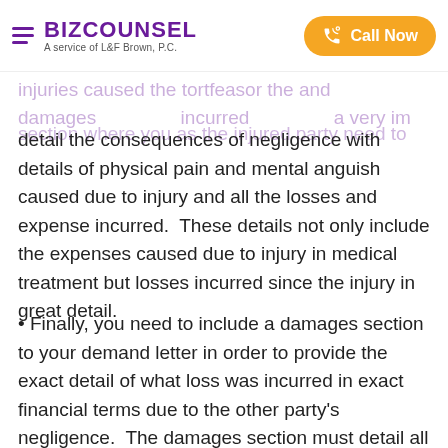BIZCOUNSEL — A service of L&F Brown, P.C. | Call Now
injuries caused the tortfeasor the and damages ... incurred ... a very im...
section where you as the injured party need to detail the consequences of negligence with details of physical pain and mental anguish caused due to injury and all the losses and expense incurred.  These details not only include the expenses caused due to injury in medical treatment but losses incurred since the injury in great detail.
Finally, you need to include a damages section to your demand letter in order to provide the exact detail of what loss was incurred in exact financial terms due to the other party's negligence.  The damages section must detail all damages due to injury and...